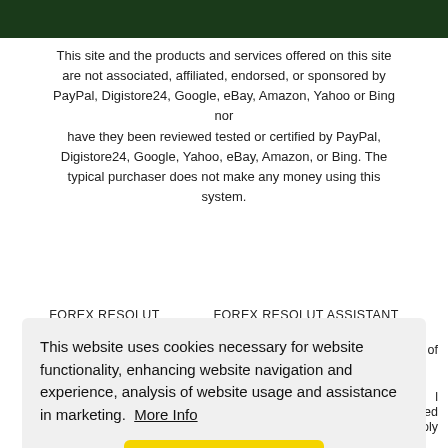[Figure (photo): Dark green header image at the top of the page]
This site and the products and services offered on this site are not associated, affiliated, endorsed, or sponsored by PayPal, Digistore24, Google, eBay, Amazon, Yahoo or Bing nor have they been reviewed tested or certified by PayPal, Digistore24, Google, Yahoo, eBay, Amazon, or Bing. The typical purchaser does not make any money using this system.
FOREX RESOLUT... ...FOREX RESOLUT ASSISTANT
...of
This website uses cookies necessary for website functionality, enhancing website navigation and experience, analysis of website usage and assistance in marketing. More Info
Got it!
...l ...ed ...oly
estimates or projections of past results, and should not be considered exact, actual, or as a promise of potential